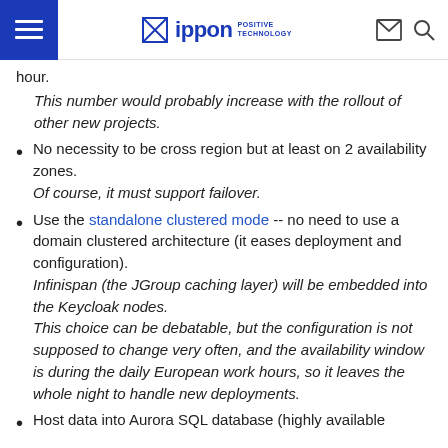Ippon Positive Technology
hour.
This number would probably increase with the rollout of other new projects.
No necessity to be cross region but at least on 2 availability zones.
Of course, it must support failover.
Use the standalone clustered mode -- no need to use a domain clustered architecture (it eases deployment and configuration).
Infinispan (the JGroup caching layer) will be embedded into the Keycloak nodes.
This choice can be debatable, but the configuration is not supposed to change very often, and the availability window is during the daily European work hours, so it leaves the whole night to handle new deployments.
Host data into Aurora SQL database (highly available